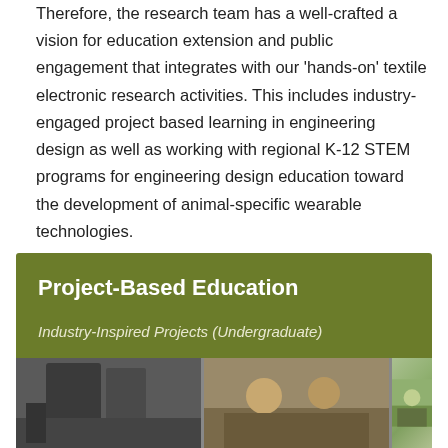Therefore, the research team has a well-crafted a vision for education extension and public engagement that integrates with our 'hands-on' textile electronic research activities. This includes industry-engaged project based learning in engineering design as well as working with regional K-12 STEM programs for engineering design education toward the development of animal-specific wearable technologies.
More information on our education programs can be found on the Courses page.
Project-Based Education
Industry-Inspired Projects (Undergraduate)
[Figure (photo): Three photographs showing students working on industry-inspired undergraduate projects]